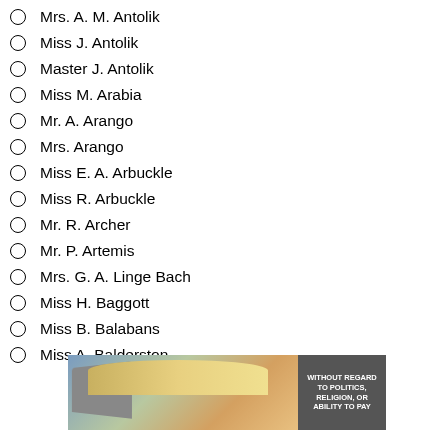Mrs. A. M. Antolik
Miss J. Antolik
Master J. Antolik
Miss M. Arabia
Mr. A. Arango
Mrs. Arango
Miss E. A. Arbuckle
Miss R. Arbuckle
Mr. R. Archer
Mr. P. Artemis
Mrs. G. A. Linge Bach
Miss H. Baggott
Miss B. Balabans
Miss A. Balderston
[Figure (photo): Advertisement banner showing an airplane being loaded with cargo, with overlay text 'WITHOUT REGARD TO POLITICS, RELIGION, OR ABILITY TO PAY']